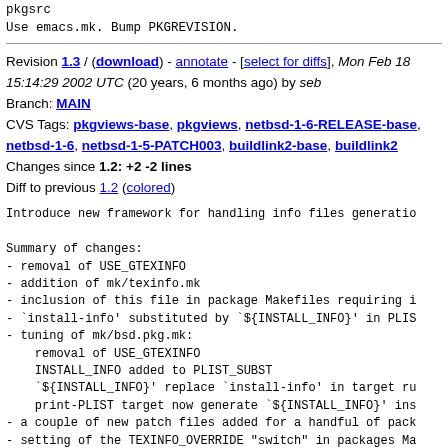pkgsrc
Use emacs.mk. Bump PKGREVISION.
Revision 1.3 / (download) - annotate - [select for diffs], Mon Feb 18 15:14:29 2002 UTC (20 years, 6 months ago) by seb
Branch: MAIN
CVS Tags: pkgviews-base, pkgviews, netbsd-1-6-RELEASE-base, netbsd-1-6, netbsd-1-5-PATCH003, buildlink2-base, buildlink2
Changes since 1.2: +2 -2 lines
Diff to previous 1.2 (colored)
Introduce new framework for handling info files generatio

Summary of changes:
- removal of USE_GTEXINFO
- addition of mk/texinfo.mk
- inclusion of this file in package Makefiles requiring i
- 'install-info' substituted by '${INSTALL_INFO}' in PLIS
- tuning of mk/bsd.pkg.mk:
    removal of USE_GTEXINFO
    INSTALL_INFO added to PLIST_SUBST
    '${INSTALL_INFO}' replace 'install-info' in target ru
    print-PLIST target now generate '${INSTALL_INFO}' ins
- a couple of new patch files added for a handful of pack
- setting of the TEXINFO_OVERRIDE "switch" in packages Ma
- devel/cssc marked requiring texinfo 4.0
- a couple of packages Makefiles were tuned with respect